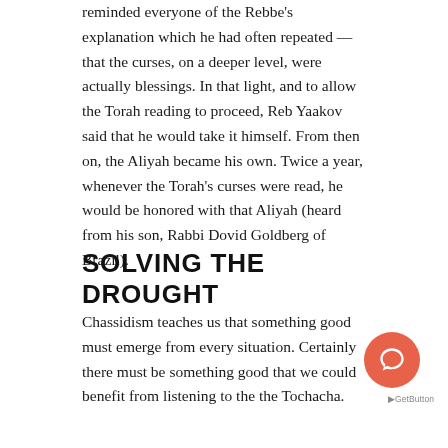reminded everyone of the Rebbe's explanation which he had often repeated — that the curses, on a deeper level, were actually blessings. In that light, and to allow the Torah reading to proceed, Reb Yaakov said that he would take it himself. From then on, the Aliyah became his own. Twice a year, whenever the Torah's curses were read, he would be honored with that Aliyah (heard from his son, Rabbi Dovid Goldberg of Brazil).
SOLVING THE DROUGHT
Chassidism teaches us that something good must emerge from every situation. Certainly there must be something good that we could benefit from listening to the the Tochacha.